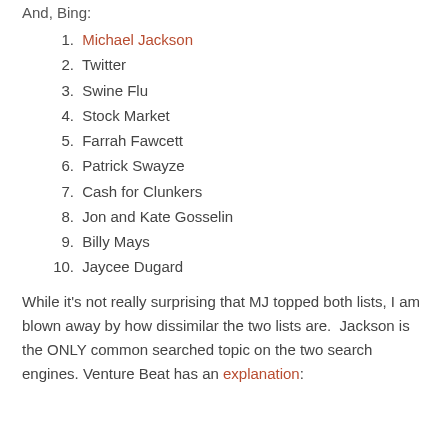And, Bing:
1. Michael Jackson
2. Twitter
3. Swine Flu
4. Stock Market
5. Farrah Fawcett
6. Patrick Swayze
7. Cash for Clunkers
8. Jon and Kate Gosselin
9. Billy Mays
10. Jaycee Dugard
While it's not really surprising that MJ topped both lists, I am blown away by how dissimilar the two lists are.  Jackson is the ONLY common searched topic on the two search engines. Venture Beat has an explanation: